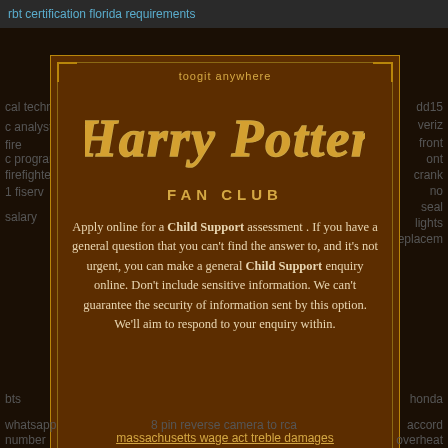rbt certification florida requirements
toogit anywhere
[Figure (logo): Harry Potter Fan Club logo with stylized golden text on dark brown background]
FAN CLUB
Apply online for a Child Support assessment . If you have a general question that you can't find the answer to, and it's not urgent, you can make a general Child Support enquiry online. Don't include sensitive information. We can't guarantee the security of information sent by this option. We'll aim to respond to your enquiry within.
massachusetts wage act treble damages
bts
honda
whatsapp number real
8 pin reverse camera to rca
accord overheat while idling